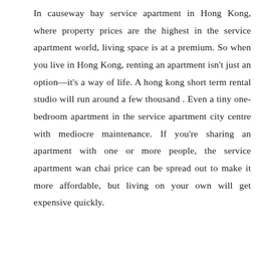In causeway bay service apartment in Hong Kong, where property prices are the highest in the service apartment world, living space is at a premium. So when you live in Hong Kong, renting an apartment isn't just an option—it's a way of life. A hong kong short term rental studio will run around a few thousand . Even a tiny one-bedroom apartment in the service apartment city centre with mediocre maintenance. If you're sharing an apartment with one or more people, the service apartment wan chai price can be spread out to make it more affordable, but living on your own will get expensive quickly.